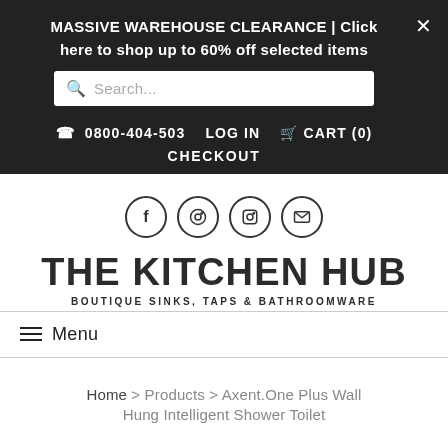MASSIVE WAREHOUSE CLEARANCE | Click here to shop up to 60% off selected items
Search...
☎ 0800-404-503  LOG IN  🛒 CART (0)  CHECKOUT
[Figure (logo): Social media icons: Facebook, Pinterest, Instagram, Email]
THE KITCHEN HUB
BOUTIQUE SINKS, TAPS & BATHROOMWARE
≡ Menu
Home > Products > Axent.One Plus Wall Hung Intelligent Shower Toilet